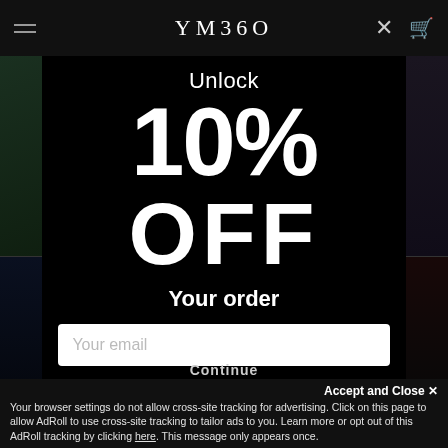[Figure (screenshot): YM360 website header navigation bar with hamburger menu, YM360 logo centered, X close icon and shopping cart icon on right]
Unlock 10% OFF Your order
Your email
Continue
Accept and Close ×
Your browser settings do not allow cross-site tracking for advertising. Click on this page to allow AdRoll to use cross-site tracking to tailor ads to you. Learn more or opt out of this AdRoll tracking by clicking here. This message only appears once.